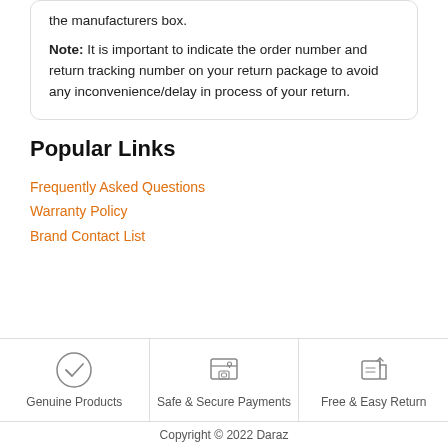the manufacturers box.

Note: It is important to indicate the order number and return tracking number on your return package to avoid any inconvenience/delay in process of your return.
Popular Links
Frequently Asked Questions
Warranty Policy
Brand Contact List
[Figure (infographic): Three footer icons: Genuine Products (checkmark in circle), Safe & Secure Payments (document with lock), Free & Easy Return (box with return arrow)]
Copyright © 2022 Daraz